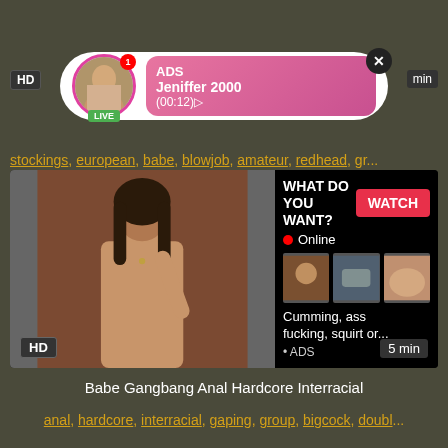[Figure (screenshot): Ad overlay with avatar, LIVE badge, ADS label, Jeniffer 2000 name, (00:12) time, pink gradient background, close X button]
HD
min
stockings, european, babe, blowjob, amateur, redhead, gr...
[Figure (screenshot): Video thumbnail showing woman, with WHAT DO YOU WANT? WATCH button, Online indicator, three preview thumbnails, text: Cumming, ass fucking, squirt or... ADS]
HD
5 min
Babe Gangbang Anal Hardcore Interracial
anal, hardcore, interracial, gaping, group, bigcock, doubl...